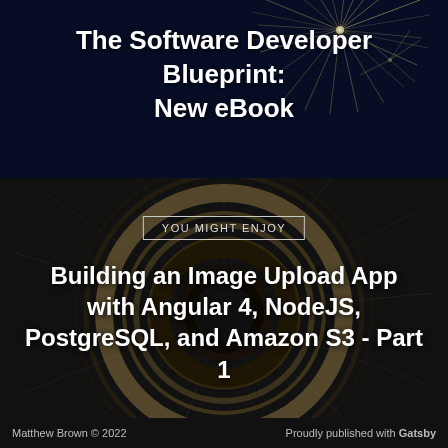The Software Developer Blueprint: New eBook
[Figure (illustration): Dark navy background with fireworks burst in upper right, decorative artistic background for the top section]
YOU MIGHT ENJOY
Building an Image Upload App with Angular 4, NodeJS, PostgreSQL, and Amazon S3 - Part 1
[Figure (photo): Dark background with circular light swirl pattern resembling a vinyl record or lens, gold and white tones on dark background]
Matthew Brown © 2022    Proudly published with Gatsby